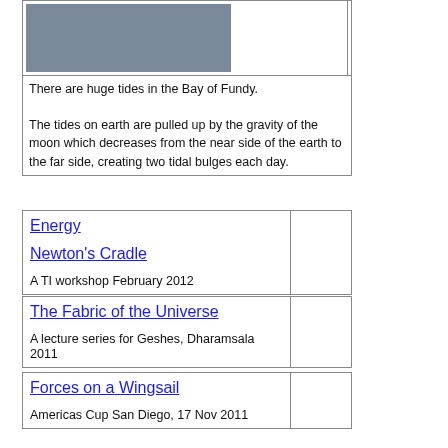[Figure (photo): Photo of rocks/Bay of Fundy landscape]
There are huge tides in the Bay of Fundy.

The tides on earth are pulled up by the gravity of the moon which decreases from the near side of the earth to the far side, creating two tidal bulges each day.
| Energy

Newton's Cradle

A TI workshop February 2012 |  |
| The Fabric of the Universe

A lecture series for Geshes, Dharamsala 2011 |  |
| Forces on a Wingsail

Americas Cup San Diego, 17 Nov 2011 |  |